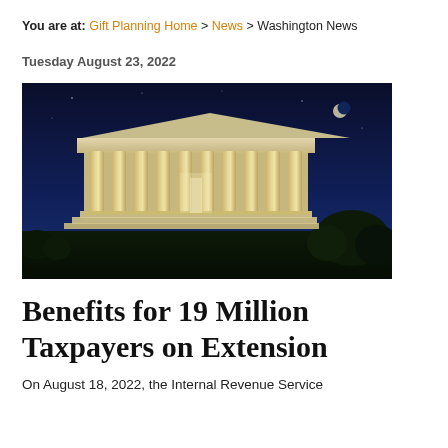You are at: Gift Planning Home > News > Washington News
Tuesday August 23, 2022
[Figure (photo): Nighttime photograph of the Lincoln Memorial in Washington DC, illuminated against a dark blue sky with a crescent moon visible in the upper right.]
Benefits for 19 Million Taxpayers on Extension
On August 18, 2022, the Internal Revenue Service